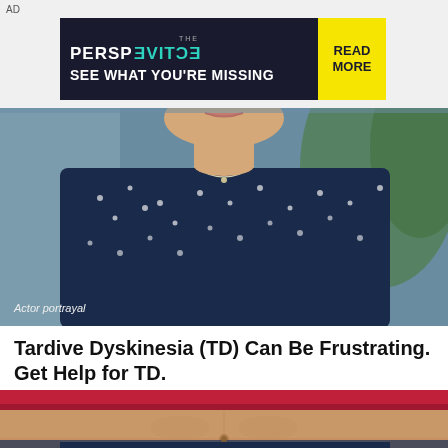AD
[Figure (photo): Advertisement banner for The Perspective - SEE WHAT YOU'RE MISSING with READ MORE button]
[Figure (photo): Close-up photo of a woman from chin to chest wearing a navy polka-dot blouse and necklace, smiling. Actor portrayal label in bottom left.]
Tardive Dyskinesia (TD) Can Be Frustrating. Get Help for TD.
Neurocrine Biosciences, Inc.
[Figure (photo): Photo of a person's midsection wearing a red sports bra top and dark shorts, showing abdomen.]